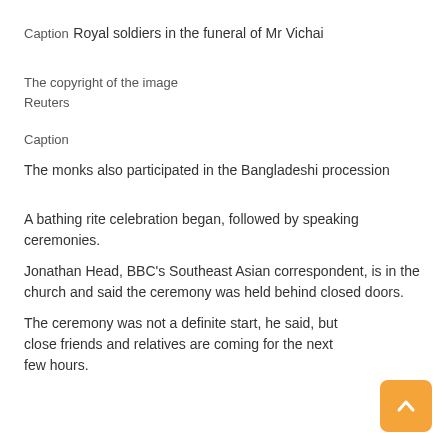Caption
Royal soldiers in the funeral of Mr Vichai
The copyright of the image
Reuters
Caption
The monks also participated in the Bangladeshi procession
A bathing rite celebration began, followed by speaking ceremonies.
Jonathan Head, BBC's Southeast Asian correspondent, is in the church and said the ceremony was held behind closed doors.
The ceremony was not a definite start, he said, but close friends and relatives are coming for the next few hours.